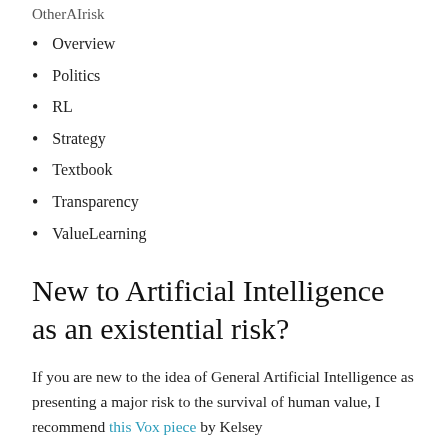OtherAIrisk
Overview
Politics
RL
Strategy
Textbook
Transparency
ValueLearning
New to Artificial Intelligence as an existential risk?
If you are new to the idea of General Artificial Intelligence as presenting a major risk to the survival of human value, I recommend this Vox piece by Kelsey